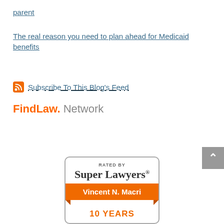parent
The real reason you need to plan ahead for Medicaid benefits
Subscribe To This Blog's Feed
FindLaw Network
[Figure (other): Super Lawyers badge rated by Super Lawyers for Vincent N. Macri, 10 Years]